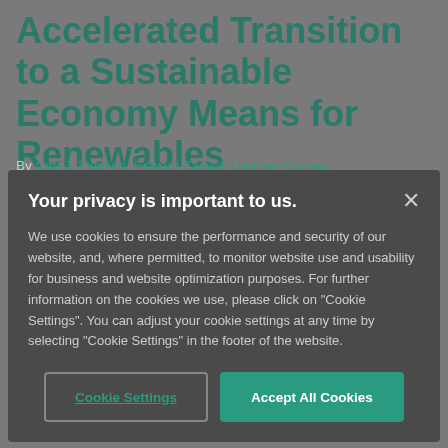Accelerated Transition to a Sustainable Economy Means for Renewables Developers, Investors and Corporates
By Carl J. Fleming, Edward Zaelke, Heather Cooper,
Your privacy is important to us.
We use cookies to ensure the performance and security of our website, and, where permitted, to monitor website use and usability for business and website optimization purposes. For further information on the cookies we use, please click on "Cookie Settings". You can adjust your cookie settings at any time by selecting "Cookie Settings" in the footer of the website.
Cookie Settings
Accept All Cookies